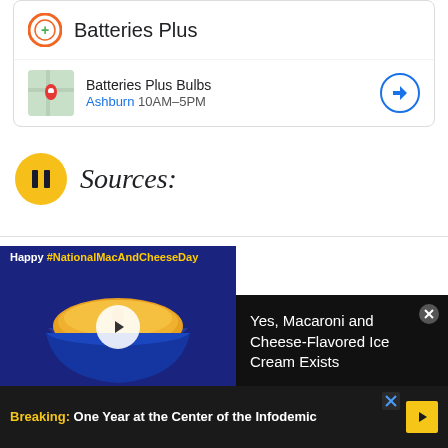[Figure (screenshot): Search result card showing Batteries Plus logo and store listing with map thumbnail, store name, hours, and navigation button]
Sources:
[Figure (screenshot): Video advertisement overlay: Happy #NationalMacAndCheeseDay with mac and cheese bowl image and play button on blue background]
Yes, Macaroni and Cheese-Flavored Ice Cream Exists
Breaking: One Year at the Center of the Infodemic